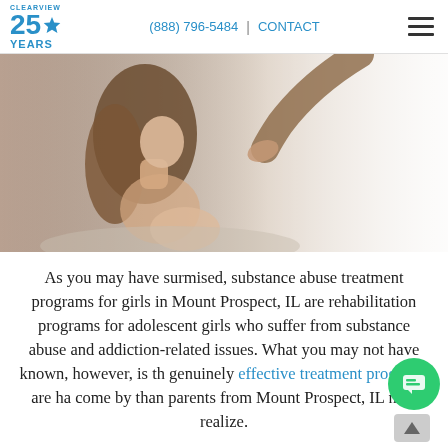CLEARVIEW 25 YEARS | (888) 796-5484 | CONTACT
[Figure (photo): A young woman sitting with her head bowed, and a hand reaching toward her from above, in a soft light setting.]
As you may have surmised, substance abuse treatment programs for girls in Mount Prospect, IL are rehabilitation programs for adolescent girls who suffer from substance abuse and addiction-related issues. What you may not have known, however, is that genuinely effective treatment programs are harder to come by than parents from Mount Prospect, IL may realize.